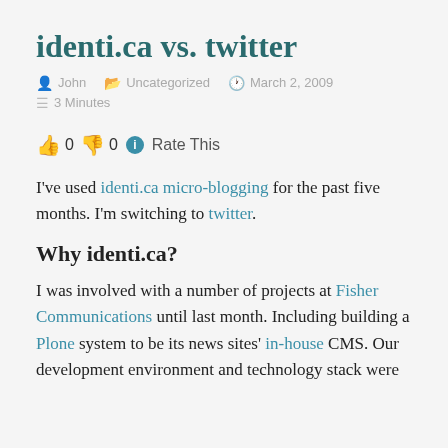identi.ca vs. twitter
John   Uncategorized   March 2, 2009   3 Minutes
👍 0 👎 0 ℹ Rate This
I've used identi.ca micro-blogging for the past five months. I'm switching to twitter.
Why identi.ca?
I was involved with a number of projects at Fisher Communications until last month. Including building a Plone system to be its news sites' in-house CMS. Our development environment and technology stack were